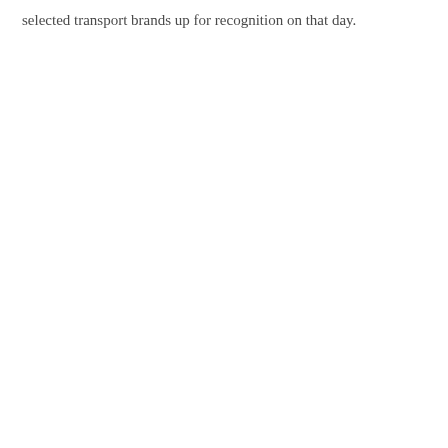selected transport brands up for recognition on that day.